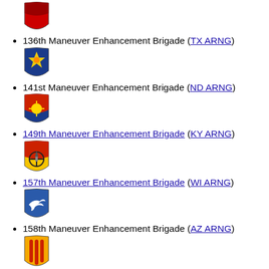136th Maneuver Enhancement Brigade (TX ARNG)
141st Maneuver Enhancement Brigade (ND ARNG)
149th Maneuver Enhancement Brigade (KY ARNG)
157th Maneuver Enhancement Brigade (WI ARNG)
158th Maneuver Enhancement Brigade (AZ ARNG)
196th Maneuver Enhancement Brigade (SD ARNG)
204th Maneuver Enhancement Brigade (UT ARNG)
218th Maneuver Enhancement Brigade (SC ARNG)
226th Maneuver Enhancement Brigade (AL ARNG)
404th Maneuver Enhancement Brigade (IL ARNG)